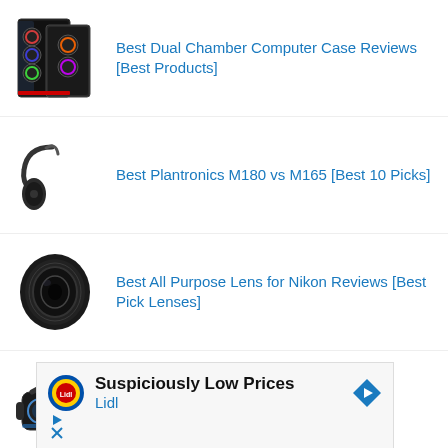Best Dual Chamber Computer Case Reviews [Best Products]
Best Plantronics M180 vs M165 [Best 10 Picks]
Best All Purpose Lens for Nikon Reviews [Best Pick Lenses]
Best VR Headset Nexus 6p [Best Pick VR Headset Nexus]
[Figure (screenshot): Lidl advertisement: Suspiciously Low Prices Lidl, with Lidl logo and navigation arrow icon]